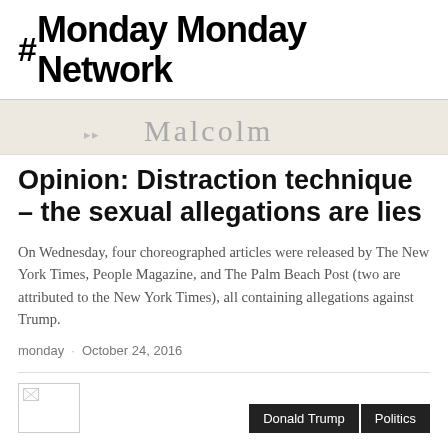#Monday Monday Network
[Figure (photo): Cropped banner image showing partial text 'Malcolm' in serif font on a light beige background]
Opinion: Distraction technique – the sexual allegations are lies
On Wednesday, four choreographed articles were released by The New York Times, People Magazine, and The Palm Beach Post (two are attributed to the New York Times), all containing allegations against Trump.
monday · October 24, 2016
[Figure (photo): Broken image placeholder in bottom left corner]
Donald Trump | Politics